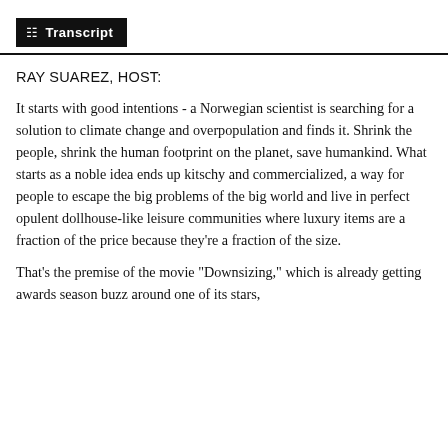Transcript
RAY SUAREZ, HOST:
It starts with good intentions - a Norwegian scientist is searching for a solution to climate change and overpopulation and finds it. Shrink the people, shrink the human footprint on the planet, save humankind. What starts as a noble idea ends up kitschy and commercialized, a way for people to escape the big problems of the big world and live in perfect opulent dollhouse-like leisure communities where luxury items are a fraction of the price because they're a fraction of the size.
That's the premise of the movie "Downsizing," which is already getting awards season buzz around one of its stars,